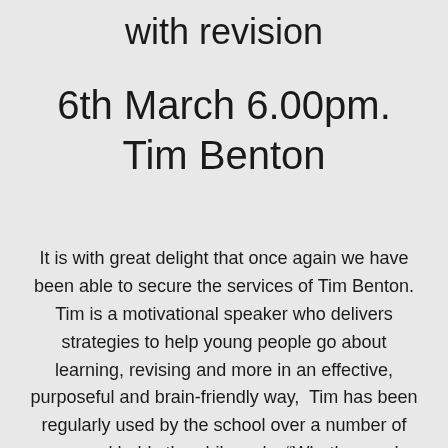with revision
6th March 6.00pm. Tim Benton
It is with great delight that once again we have been able to secure the services of Tim Benton. Tim is a motivational speaker who delivers strategies to help young people go about learning, revising and more in an effective, purposeful and brain-friendly way,  Tim has been regularly used by the school over a number of years and holds the philosophy “Whether you’re ten years old or ten years teaching, I want you to live at